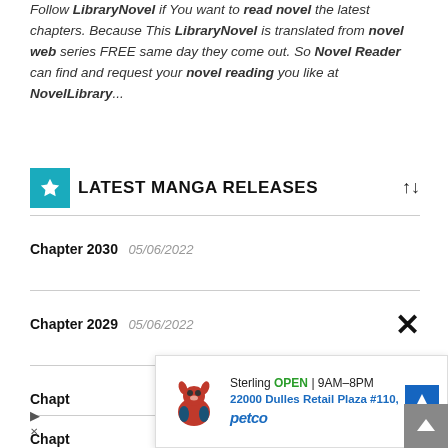Follow LibraryNovel if You want to read novel the latest chapters. Because This LibraryNovel is translated from novel web series FREE same day they come out. So Novel Reader can find and request your novel reading you like at NovelLibrary...
LATEST MANGA RELEASES
Chapter 2030  05/06/2022
Chapter 2029  05/06/2022
Chapt...
Chapt...
[Figure (screenshot): Petco advertisement overlay showing store info: Sterling OPEN 9AM-8PM, 22000 Dulles Retail Plaza #110, with navigation icon and petco logo with dog mascot]